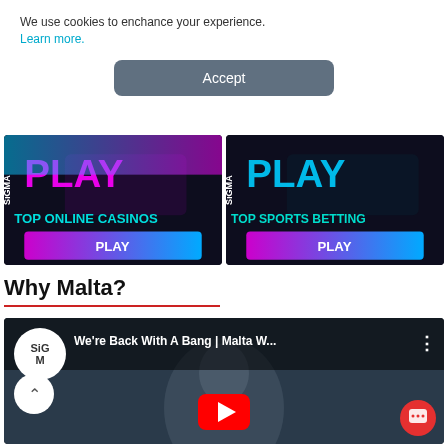We use cookies to enchance your experience. Learn more.
Accept
[Figure (illustration): SiGMA Play banner for Top Online Casinos with PLAY button]
[Figure (illustration): SiGMA Play banner for Top Sports Betting with PLAY button]
Why Malta?
[Figure (screenshot): YouTube video embed: We're Back With A Bang | Malta W... with SiGMA logo, person in suit, red YouTube play button]